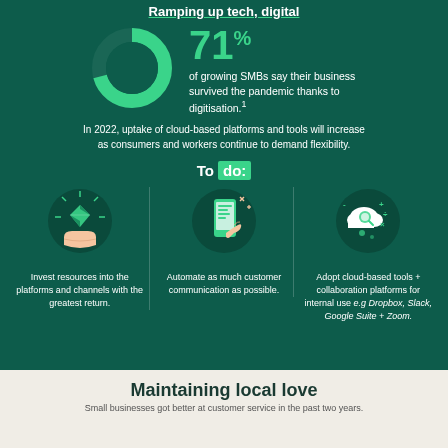Ramping up tech, digital
[Figure (donut-chart): SMBs survived pandemic via digitisation]
71% of growing SMBs say their business survived the pandemic thanks to digitisation.!
In 2022, uptake of cloud-based platforms and tools will increase as consumers and workers continue to demand flexibility.
To do:
[Figure (illustration): Diamond on hand icon]
[Figure (illustration): Hand touching smartphone icon]
[Figure (illustration): Cloud with magnifying glass and math symbols icon]
Invest resources into the platforms and channels with the greatest return.
Automate as much customer communication as possible.
Adopt cloud-based tools + collaboration platforms for internal use e.g Dropbox, Slack, Google Suite + Zoom.
Maintaining local love
Small businesses got better at customer service in the past two years.